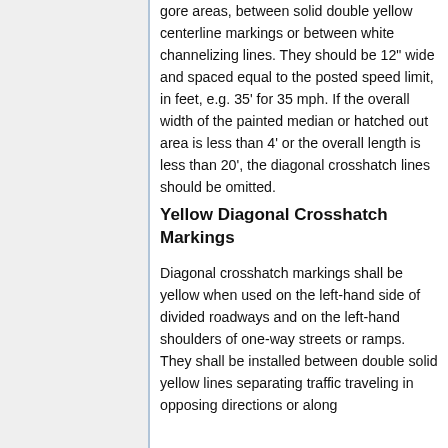gore areas, between solid double yellow centerline markings or between white channelizing lines. They should be 12" wide and spaced equal to the posted speed limit, in feet, e.g. 35' for 35 mph. If the overall width of the painted median or hatched out area is less than 4' or the overall length is less than 20', the diagonal crosshatch lines should be omitted.
Yellow Diagonal Crosshatch Markings
Diagonal crosshatch markings shall be yellow when used on the left-hand side of divided roadways and on the left-hand shoulders of one-way streets or ramps. They shall be installed between double solid yellow lines separating traffic traveling in opposing directions or along